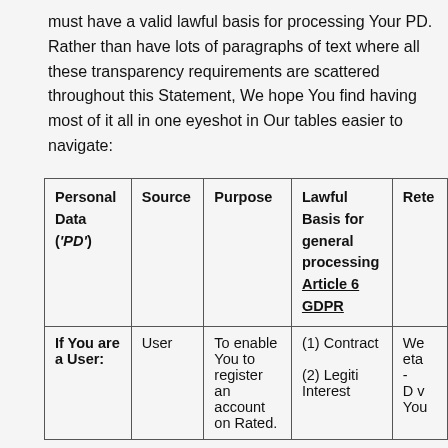must have a valid lawful basis for processing Your PD. Rather than have lots of paragraphs of text where all these transparency requirements are scattered throughout this Statement, We hope You find having most of it all in one eyeshot in Our tables easier to navigate:
| Personal Data ('PD') | Source | Purpose | Lawful Basis for general processing Article 6 GDPR | Rete... |
| --- | --- | --- | --- | --- |
| If You are a User: | User | To enable You to register an account on Rated. | (1) Contract
(2) Legiti... Interest | We ...
eta...
-
D v...
You |